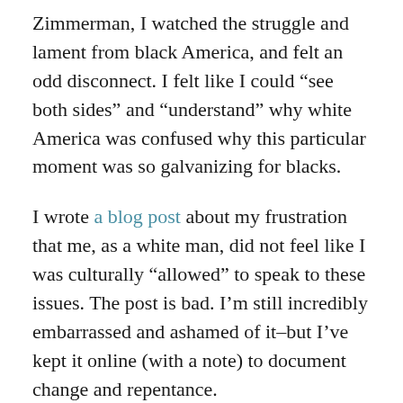Zimmerman, I watched the struggle and lament from black America, and felt an odd disconnect. I felt like I could “see both sides” and “understand” why white America was confused why this particular moment was so galvanizing for blacks.
I wrote a blog post about my frustration that me, as a white man, did not feel like I was culturally “allowed” to speak to these issues. The post is bad. I’m still incredibly embarrassed and ashamed of it–but I’ve kept it online (with a note) to document change and repentance.
I had great friends that really laid into me about that post. They took me to task, were patient with me, fully articulated their thoughts, and demonstrated the implications of and ideas behind